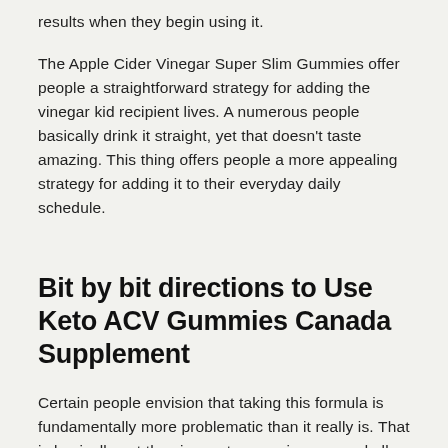results when they begin using it.
The Apple Cider Vinegar Super Slim Gummies offer people a straightforward strategy for adding the vinegar kid recipient lives. A numerous people basically drink it straight, yet that doesn't taste amazing. This thing offers people a more appealing strategy for adding it to their everyday daily schedule.
Bit by bit directions to Use Keto ACV Gummies Canada Supplement
Certain people envision that taking this formula is fundamentally more problematic than it really is. That is basically not the circumstance using any and all means.